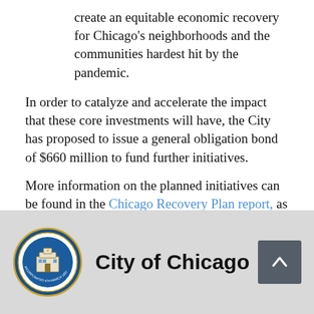create an equitable economic recovery for Chicago's neighborhoods and the communities hardest hit by the pandemic.
In order to catalyze and accelerate the impact that these core investments will have, the City has proposed to issue a general obligation bond of $660 million to fund further initiatives.
More information on the planned initiatives can be found in the Chicago Recovery Plan report, as well as how it aligns with federal guidance in periodic reports required by the U.S. Treasury Department. The most recent federal report can be found here.
City of Chicago